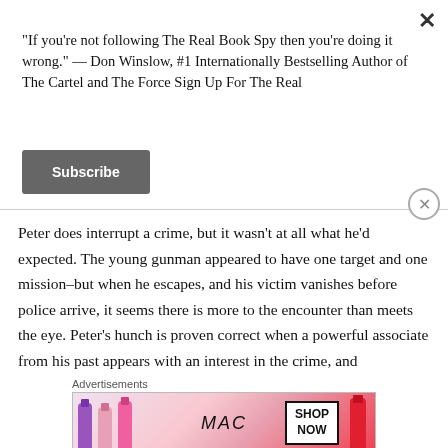“If you’re not following The Real Book Spy then you’re doing it wrong.” — Don Winslow, #1 Internationally Bestselling Author of The Cartel and The Force Sign Up For The Real
Subscribe
Peter does interrupt a crime, but it wasn’t at all what he’d expected. The young gunman appeared to have one target and one mission–but when he escapes, and his victim vanishes before police arrive, it seems there is more to the encounter than meets the eye. Peter’s hunch is proven correct when a powerful associate from his past appears with an interest in the crime, and
Advertisements
[Figure (photo): MAC cosmetics advertisement banner showing lipsticks in purple, pink and red shades, MAC logo, and SHOP NOW box]